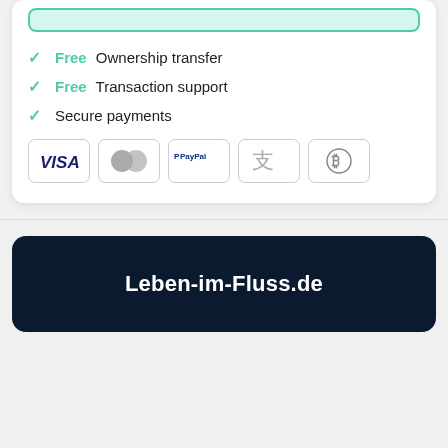Free Ownership transfer
Free Transaction support
Secure payments
[Figure (infographic): Row of payment method icons: VISA, Mastercard, PayPal, Alipay, Bitcoin]
Leben-im-Fluss.de